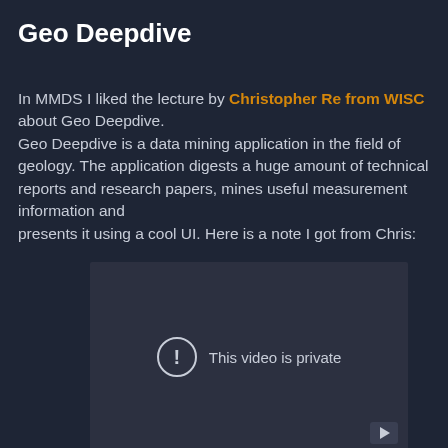Geo Deepdive
In MMDS I liked the lecture by Christopher Re from WISC about Geo Deepdive.
Geo Deepdive is a data mining application in the field of geology. The application digests a huge amount of technical reports and research papers, mines useful measurement information and presents it using a cool UI. Here is a note I got from Chris:
[Figure (screenshot): Embedded video player showing 'This video is private' message with an exclamation circle icon and a play button in the bottom right corner. The player background is dark gray.]